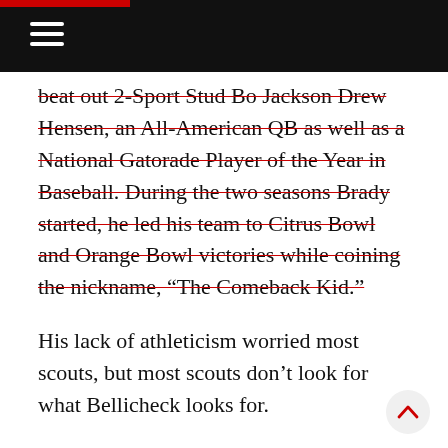beat out 2-Sport Stud Bo Jackson Drew Hensen, an All-American QB as well as a National Gatorade Player of the Year in Baseball. During the two seasons Brady started, he led his team to Citrus Bowl and Orange Bowl victories while coining the nickname, “The Comeback Kid.”
His lack of athleticism worried most scouts, but most scouts don’t look for what Bellicheck looks for.
Toughness. Poise. Winner Mentality.
In his second season, he filled in for Drew